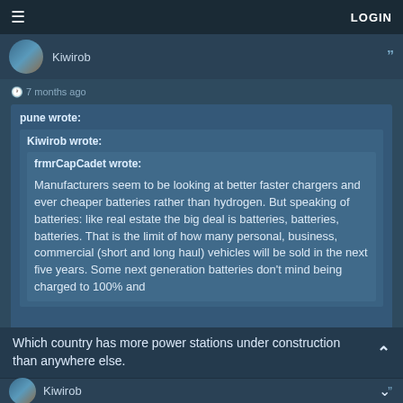≡  LOGIN
Kiwirob
⏱ 7 months ago
pune wrote:
  Kiwirob wrote:
    frmrCapCadet wrote:
    Manufacturers seem to be looking at better faster chargers and ever cheaper batteries rather than hydrogen. But speaking of batteries: like real estate the big deal is batteries, batteries, batteries. That is the limit of how many personal, business, commercial (short and long haul) vehicles will be sold in the next five years. Some next generation batteries don't mind being charged to 100% and
Which country has more power stations under construction than anywhere else.
Kiwirob